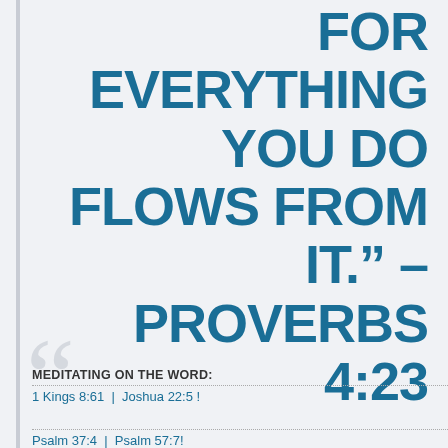FOR EVERYTHING YOU DO FLOWS FROM IT." - PROVERBS 4:23
MEDITATING ON THE WORD:
1 Kings 8:61 | Joshua 22:5 !
Psalm 37:4 | Psalm 57:7!